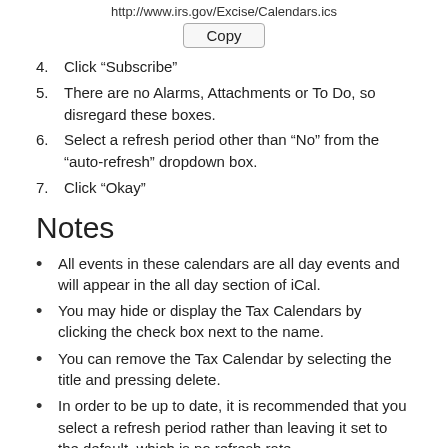http://www.irs.gov/Excise/Calendars.ics
[Figure (other): Copy button]
4. Click “Subscribe”
5. There are no Alarms, Attachments or To Do, so disregard these boxes.
6. Select a refresh period other than “No” from the “auto-refresh” dropdown box.
7. Click “Okay”
Notes
All events in these calendars are all day events and will appear in the all day section of iCal.
You may hide or display the Tax Calendars by clicking the check box next to the name.
You can remove the Tax Calendar by selecting the title and pressing delete.
In order to be up to date, it is recommended that you select a refresh period rather than leaving it set to the default, which is no refresh rate.